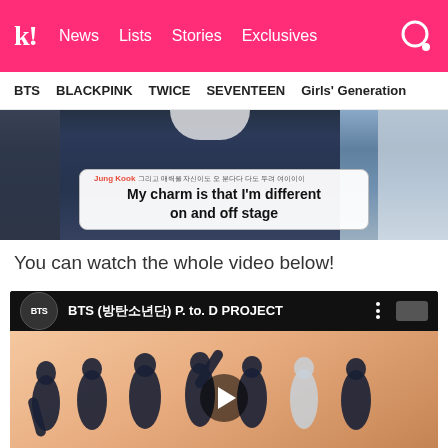k! News Lists Stories Exclusives
BTS  BLACKPINK  TWICE  SEVENTEEN  Girls' Generation
[Figure (screenshot): Video screenshot showing a person in navy outfit with subtitle box reading 'Jung Kook: My charm is that I'm different on and off stage']
You can watch the whole video below!
[Figure (screenshot): YouTube video embed thumbnail showing BTS members in matching navy outfits posing. Video title: BTS (방탄소년단) P. to. D PROJECT with play button overlay.]